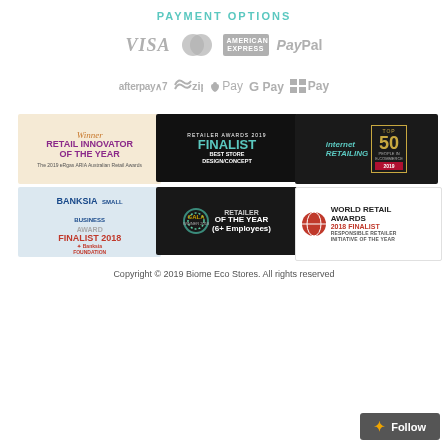PAYMENT OPTIONS
[Figure (logo): Payment method logos row 1: VISA, MasterCard, American Express, PayPal]
[Figure (logo): Payment method logos row 2: afterpay, zip, Apple Pay, G Pay, Microsoft Pay]
[Figure (logo): Award badges grid: Retail Innovator of the Year (2019 ARIA), Finalist Best Store Design/Concept (Retailer Awards 2019), Internet Retailing Top 50 People in E-Commerce 2019, Banksia Small Business Award Finalist 2018, GALA Retailer of the Year (6+ Employees), World Retail Awards 2018 Finalist Responsible Retailer Initiative of the Year]
Copyright © 2019 Biome Eco Stores. All rights reserved